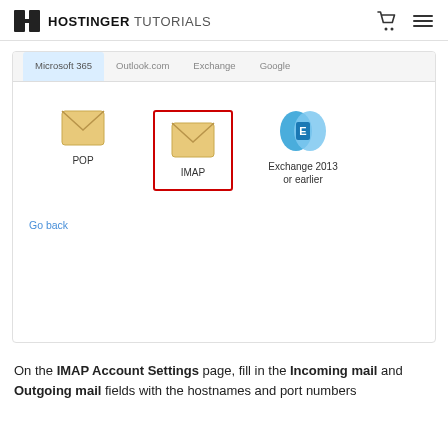HOSTINGER TUTORIALS
[Figure (screenshot): Outlook account setup screen showing tabs: Microsoft 365 (selected/highlighted in blue), Outlook.com, Exchange, Google. Below tabs are three icons: POP (envelope icon), IMAP (envelope icon, highlighted with red box), Exchange 2013 or earlier (blue Exchange icon). A 'Go back' link appears at the bottom of the panel.]
On the IMAP Account Settings page, fill in the Incoming mail and Outgoing mail fields with the hostnames and port numbers